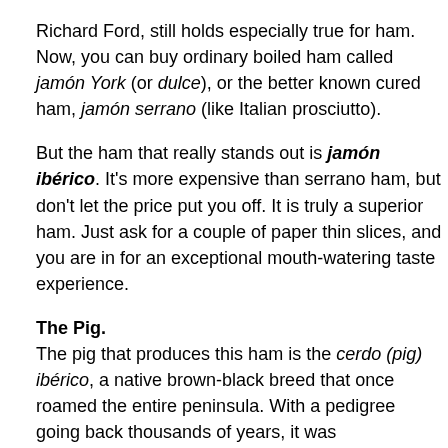Richard Ford, still holds especially true for ham. Now, you can buy ordinary boiled ham called jamón York (or dulce), or the better known cured ham, jamón serrano (like Italian prosciutto).
But the ham that really stands out is jamón ibérico. It's more expensive than serrano ham, but don't let the price put you off. It is truly a superior ham. Just ask for a couple of paper thin slices, and you are in for an exceptional mouth-watering taste experience.
The Pig.
The pig that produces this ham is the cerdo (pig) ibérico, a native brown-black breed that once roamed the entire peninsula. With a pedigree going back thousands of years, it was domesticated over time. As early as the 16th century, the cerdo ibérico was a prized product with tens of thousands changing hands on the day of San Andrés (St.